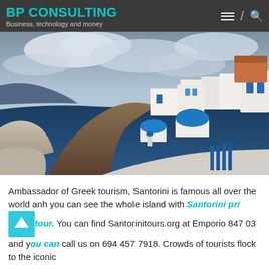BP CONSULTING
Business, technology and money
[Figure (photo): Aerial view of Santorini, Greece, showing iconic white buildings with blue domed churches on cliffs overlooking the deep blue sea, with dramatic cloudy sky above.]
Ambassador of Greek tourism, Santorini is famous all over the world anh you can see the whole island with Santorini private tour. You can find Santorinitours.org at Emporio 847 03 and you can call us on 694 457 7918. Crowds of tourists flock to the iconic